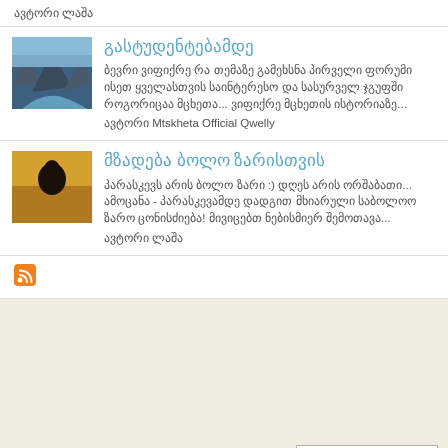ავტორი ლაშა
გასტუდენტებამდე
ბევრი ვიფიქრე რა თემაზე გამეხსნა პირველი ფორუმი ისეთ ყველასთვის საინტერესო და სასურველ ჯგუფში როგორიცაა მცხეთა... ვიფიქრე მცხეთის ისტორიაზე...
ავტორი Mtskheta Official Qwelly
მზადება ბოლო ზარისთვის
პარასკევს არის ბოლო ზარი :) დღეს არის ორშაბათი... ამოცანა - პარასკევამდე დადგით მხიარული საბოლოო ზარო ცონისძიება! მივიცებთ ნებისმიერ შემოთავა...
ავტორი ლაშა
[Figure (logo): RSS feed icon - orange square with white wifi/rss symbol]
საუბრის დაწყება!